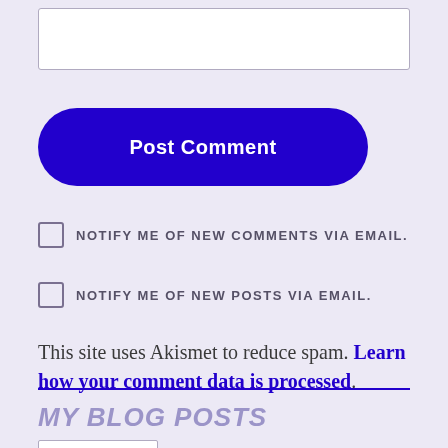[Figure (other): Empty text input box with white background and gray border]
Post Comment
NOTIFY ME OF NEW COMMENTS VIA EMAIL.
NOTIFY ME OF NEW POSTS VIA EMAIL.
This site uses Akismet to reduce spam. Learn how your comment data is processed.
MY BLOG POSTS
[Figure (other): Partial empty input box at bottom of page]